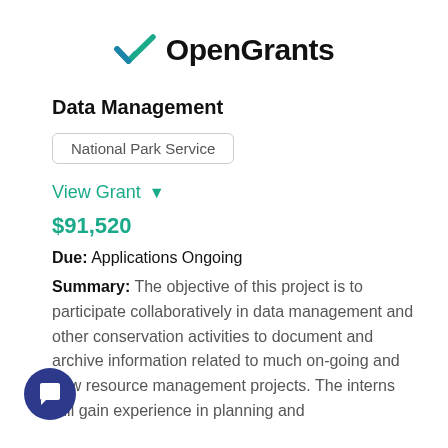[Figure (logo): OpenGrants logo: a teal/blue checkmark icon followed by the text 'OpenGrants' in bold black]
Data Management
National Park Service
View Grant ▾
$91,520
Due: Applications Ongoing
Summary: The objective of this project is to participate collaboratively in data management and other conservation activities to document and archive information related to much on-going and new resource management projects. The interns will gain experience in planning and